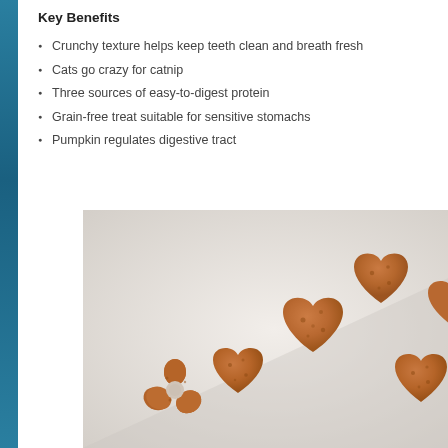Key Benefits
Crunchy texture helps keep teeth clean and breath fresh
Cats go crazy for catnip
Three sources of easy-to-digest protein
Grain-free treat suitable for sensitive stomachs
Pumpkin regulates digestive tract
[Figure (photo): Heart-shaped and flower-shaped cat treats arranged diagonally on a white surface]